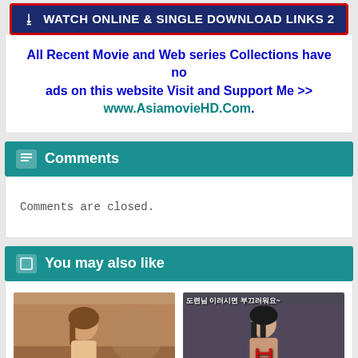[Figure (screenshot): Dark blue banner button with red border, download icon and text 'WATCH ONLINE & SINGLE DOWNLOAD LINKS 2']
All Recent Movie and Web series Collections have no ads on this website Visit and Support Me >> www.AsiamovieHD.Com.
Comments
Comments are closed.
You may also like
[Figure (photo): Two thumbnail images side by side: left shows a woman with brown hair, right shows a woman with dark hair with Korean text overlay and red title character]